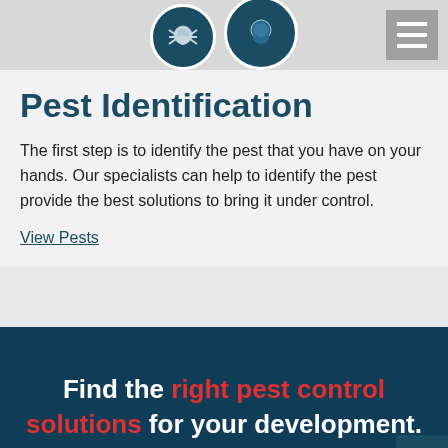[Figure (screenshot): Website header bar with two circular icons showing pest illustrations on dark teal background, and a hamburger menu button on the right]
Pest Identification
The first step is to identify the pest that you have on your hands. Our specialists can help to identify the pest provide the best solutions to bring it under control.
View Pests
Find the right pest control solutions for your development.